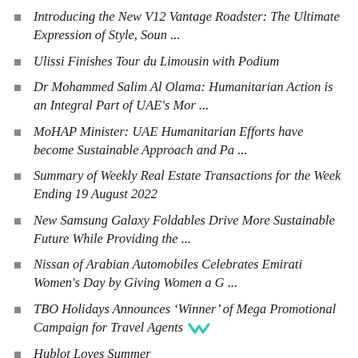Introducing the New V12 Vantage Roadster: The Ultimate Expression of Style, Soun ...
Ulissi Finishes Tour du Limousin with Podium
Dr Mohammed Salim Al Olama: Humanitarian Action is an Integral Part of UAE's Mor ...
MoHAP Minister: UAE Humanitarian Efforts have become Sustainable Approach and Pa ...
Summary of Weekly Real Estate Transactions for the Week Ending 19 August 2022
New Samsung Galaxy Foldables Drive More Sustainable Future While Providing the ...
Nissan of Arabian Automobiles Celebrates Emirati Women's Day by Giving Women a G ...
TBO Holidays Announces ‘Winner’ of Mega Promotional Campaign for Travel Agents
Hublot Loves Summer